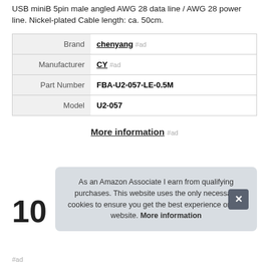USB miniB 5pin male angled AWG 28 data line / AWG 28 power line. Nickel-plated Cable length: ca. 50cm.
|  |  |
| --- | --- |
| Brand | chenyang #ad |
| Manufacturer | CY #ad |
| Part Number | FBA-U2-057-LE-0.5M |
| Model | U2-057 |
More information #ad
10
As an Amazon Associate I earn from qualifying purchases. This website uses the only necessary cookies to ensure you get the best experience on our website. More information
#ad